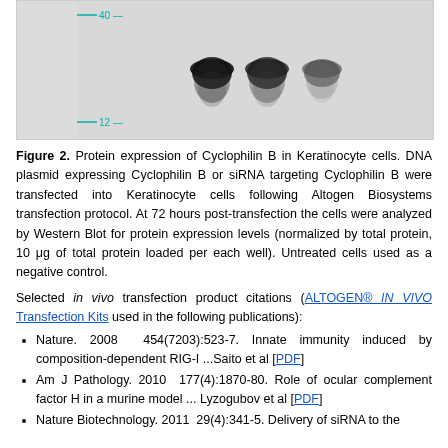[Figure (other): Western blot image showing three dark bands against a light background, with molecular weight markers labeled 40 and 12 on the left side.]
Figure 2. Protein expression of Cyclophilin B in Keratinocyte cells. DNA plasmid expressing Cyclophilin B or siRNA targeting Cyclophilin B were transfected into Keratinocyte cells following Altogen Biosystems transfection protocol. At 72 hours post-transfection the cells were analyzed by Western Blot for protein expression levels (normalized by total protein, 10 μg of total protein loaded per each well). Untreated cells used as a negative control.
Selected in vivo transfection product citations (ALTOGEN® IN VIVO Transfection Kits used in the following publications):
Nature. 2008 454(7203):523-7. Innate immunity induced by composition-dependent RIG-I ...Saito et al [PDF]
Am J Pathology. 2010 177(4):1870-80. Role of ocular complement factor H in a murine model ... Lyzogubov et al [PDF]
Nature Biotechnology. 2011 29(4):341-5. Delivery of siRNA to the